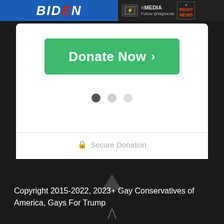[Figure (screenshot): Top banner with Biden logo on left and media logos (fag media, Right News) on right]
[Figure (other): Green Donate Now button with right arrow chevron on white card background]
[Figure (other): Three pagination dots: one dark active, two light inactive]
Secure Donation
Copyright 2015-2022, 2023+ Gay Conservatives of America, Gays For Trump